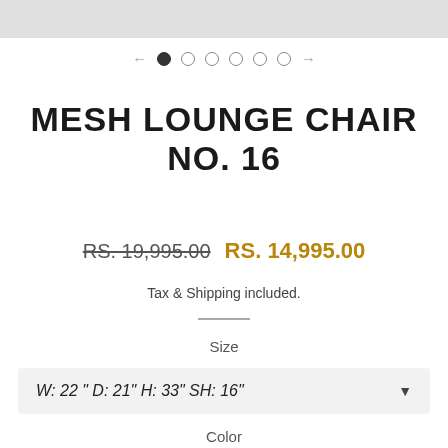[Figure (screenshot): Top image strip placeholder, partially visible product image]
[Figure (other): Navigation dots: left arrow, one filled dot, five empty dots, right arrow]
MESH LOUNGE CHAIR NO. 16
RS. 19,995.00 RS. 14,995.00
Tax & Shipping included.
Size
W: 22 " D: 21" H: 33" SH: 16"
Color